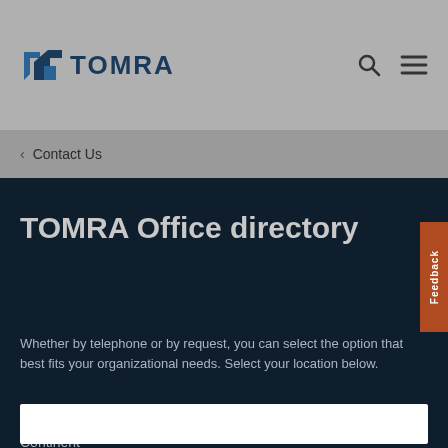TOMRA
Contact Us
TOMRA Office directory
Whether by telephone or by request, you can select the option that best fits your organizational needs. Select your location below.
Continent